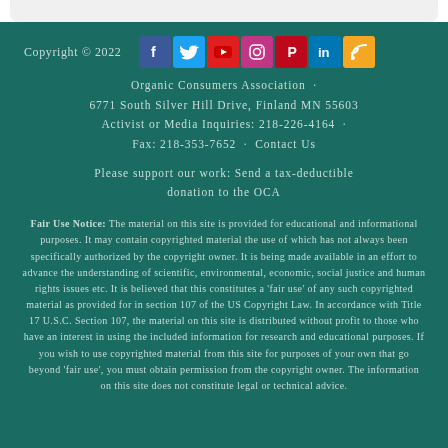Copyright © 2022 [social icons: Facebook, Twitter, YouTube, Instagram, Pinterest, LinkedIn, RSS]
Organic Consumers Association · 6771 South Silver Hill Drive, Finland MN 55603 Activist or Media Inquiries: 218-226-4164 · Fax: 218-353-7652 · Contact Us
Please support our work: Send a tax-deductible donation to the OCA
Fair Use Notice: The material on this site is provided for educational and informational purposes. It may contain copyrighted material the use of which has not always been specifically authorized by the copyright owner. It is being made available in an effort to advance the understanding of scientific, environmental, economic, social justice and human rights issues etc. It is believed that this constitutes a 'fair use' of any such copyrighted material as provided for in section 107 of the US Copyright Law. In accordance with Title 17 U.S.C. Section 107, the material on this site is distributed without profit to those who have an interest in using the included information for research and educational purposes. If you wish to use copyrighted material from this site for purposes of your own that go beyond 'fair use', you must obtain permission from the copyright owner. The information on this site does not constitute legal or technical advice.